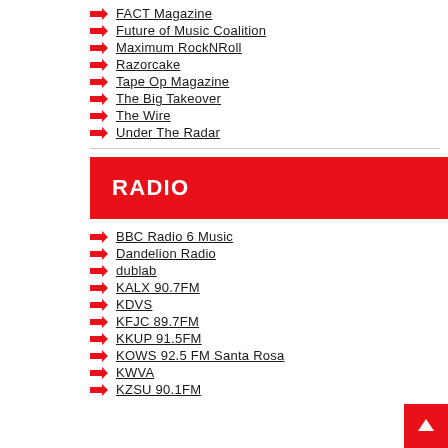FACT Magazine
Future of Music Coalition
Maximum RockNRoll
Razorcake
Tape Op Magazine
The Big Takeover
The Wire
Under The Radar
RADIO
BBC Radio 6 Music
Dandelion Radio
dublab
KALX 90.7FM
KDVS
KFJC 89.7FM
KKUP 91.5FM
KOWS 92.5 FM Santa Rosa
KWVA
KZSU 90.1FM